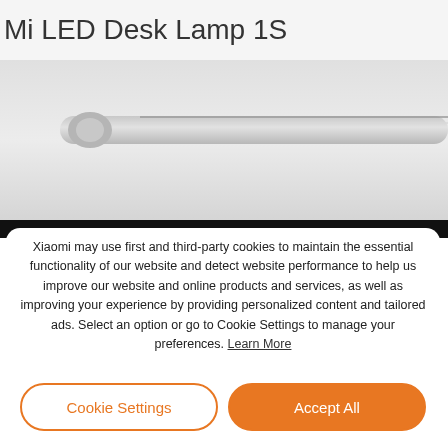Mi LED Desk Lamp 1S
[Figure (photo): Mi LED Desk Lamp 1S product image showing the lamp arm and head in light gray finish against a light gray background]
Xiaomi may use first and third-party cookies to maintain the essential functionality of our website and detect website performance to help us improve our website and online products and services, as well as improving your experience by providing personalized content and tailored ads. Select an option or go to Cookie Settings to manage your preferences. Learn More
Cookie Settings
Accept All